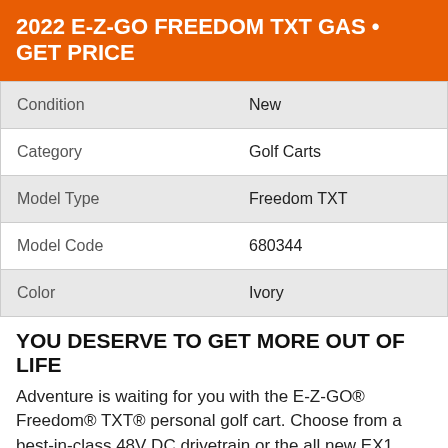2022 E-Z-GO FREEDOM TXT GAS • GET PRICE
| Condition | New |
| --- | --- |
| Condition | New |
| Category | Golf Carts |
| Model Type | Freedom TXT |
| Model Code | 680344 |
| Color | Ivory |
YOU DESERVE TO GET MORE OUT OF LIFE
Adventure is waiting for you with the E-Z-GO® Freedom® TXT® personal golf cart. Choose from a best-in-class 48V DC drivetrain or the all new EX1 closed-loop EFI gas engine. Either way, substantial storage, comfortable seats, and modern headlights mean with every ride you'll experience more.